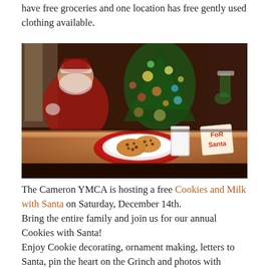have free groceries and one location has free gently used clothing available.
[Figure (photo): Photo of Santa Claus sitting in background, with a plate of chocolate chip cookies and a glass of milk on a wooden table in foreground, with a red napkin and a note card reading 'For Santa' in red handwriting. A decorated Christmas tree with lights is visible in the background.]
The Cameron YMCA is hosting a free Cookies and Milk with Santa on Saturday, December 14th.
Bring the entire family and join us for our annual Cookies with Santa!
Enjoy Cookie decorating, ornament making, letters to Santa, pin the heart on the Grinch and photos with Santa!